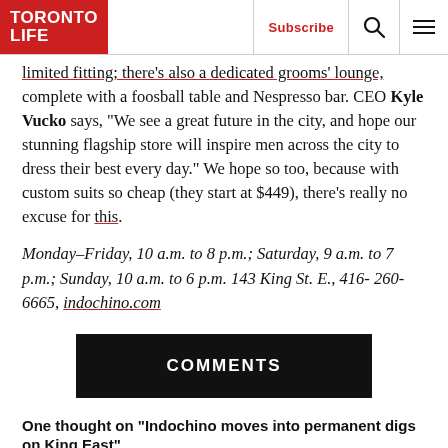TORONTO LIFE | Subscribe | [search] [menu]
…limited fitting; there's also a dedicated grooms' lounge, complete with a foosball table and Nespresso bar. CEO Kyle Vucko says, “We see a great future in the city, and hope our stunning flagship store will inspire men across the city to dress their best every day.” We hope so too, because with custom suits so cheap (they start at $449), there’s really no excuse for this.
Monday–Friday, 10 a.m. to 8 p.m.; Saturday, 9 a.m. to 7 p.m.; Sunday, 10 a.m. to 6 p.m. 143 King St. E., 416-260-6665, indochino.com
COMMENTS
One thought on “Indochino moves into permanent digs on King East”